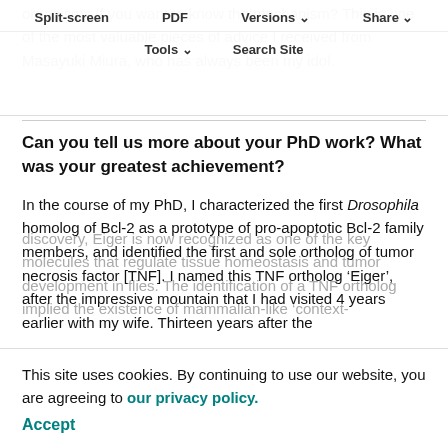organisms If you want to know the mechanism? This is one of the most valuable pieces of advice I received from Masayuki Miura, who has always been my idol.
Split-screen  PDF  Versions  Share  Tools  Search Site
Can you tell us more about your PhD work? What was your greatest achievement?
In the course of my PhD, I characterized the first Drosophila homolog of Bcl-2 as a prototype of pro-apoptotic Bcl-2 family members, and identified the first and sole ortholog of tumor necrosis factor [TNF]. I named this TNF ortholog ‘Eiger’, after the impressive mountain that I had visited 4 years earlier with my wife. Thirteen years after the
discovery, Eiger is now recognized as one of the key molecules that regulate tissue homeostasis and tumor development in flies. The identification of a TNF ortholog implied the existence of mammalian-like ‘context-
This site uses cookies. By continuing to use our website, you are agreeing to our privacy policy.
Accept